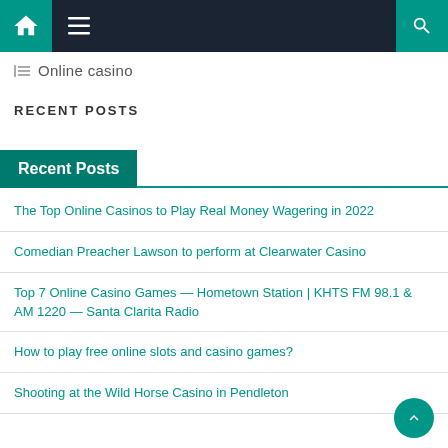Navigation bar with home icon, menu icon, and search icon
Online casino
RECENT POSTS
Recent Posts
The Top Online Casinos to Play Real Money Wagering in 2022
Comedian Preacher Lawson to perform at Clearwater Casino
Top 7 Online Casino Games — Hometown Station | KHTS FM 98.1 & AM 1220 — Santa Clarita Radio
How to play free online slots and casino games?
Shooting at the Wild Horse Casino in Pendleton